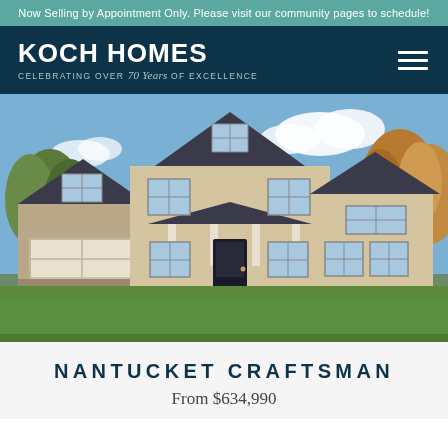Now Selling by Appointment Only. Please visit our community pages to schedule!
[Figure (logo): Koch Homes logo with text 'CELEBRATING OVER 70 Years OF EXCELLENCE' on dark navy background with hamburger menu icon]
[Figure (photo): Exterior photo of a large two-story craftsman-style home with beige siding, dark gray roof, attached garage, front porch, and green lawn with trees in background]
NANTUCKET CRAFTSMAN
From $634,990